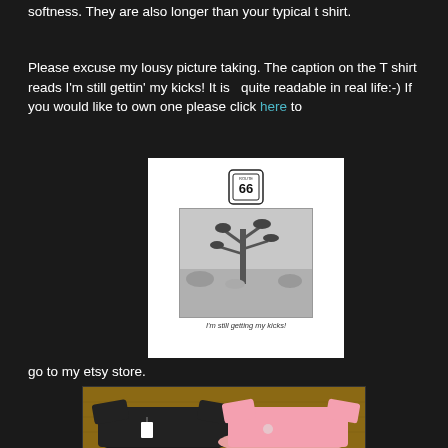softness. They are also longer than your typical t shirt.
Please excuse my lousy picture taking. The caption on the T shirt reads I'm still gettin' my kicks! It is  quite readable in real life:-) If you would like to own one please click here to go to my etsy store.
[Figure (photo): Route 66 t-shirt graphic showing a Joshua tree desert scene in black and white with Route 66 shield logo and caption 'I'm still getting my kicks!']
[Figure (photo): Two t-shirts laid flat on a wooden surface — one black and one pink]